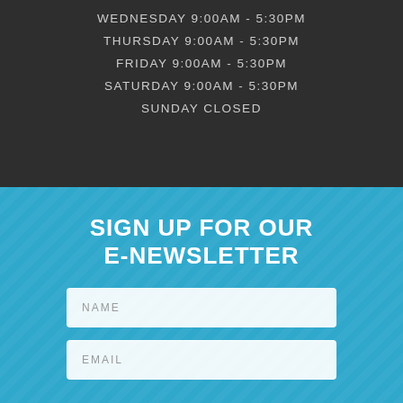WEDNESDAY 9:00AM - 5:30PM
THURSDAY 9:00AM - 5:30PM
FRIDAY 9:00AM - 5:30PM
SATURDAY 9:00AM - 5:30PM
SUNDAY CLOSED
SIGN UP FOR OUR E-NEWSLETTER
NAME
EMAIL